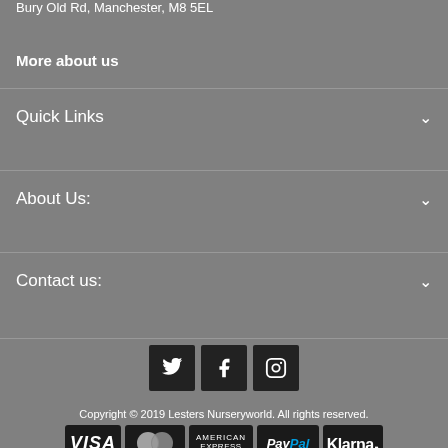Bury Old Rd, Manchester, M8 5EL
More about us
Quick Links
About Us:
Contact us:
[Figure (illustration): Social media icons: Twitter, Facebook, Instagram]
Copyright © 2019 Lesters Nurseryworld. All rights reserved.
[Figure (illustration): Payment method logos: VISA, MasterCard, American Express, PayPal, Klarna]